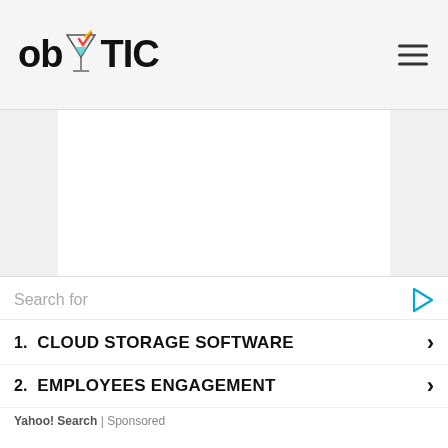ob TIC (logo with cocktail icon and hamburger menu)
[Figure (screenshot): White content area with a partially visible red textured image strip at the bottom, and a close (x) button on the right side]
Search for
1. CLOUD STORAGE SOFTWARE ›
2. EMPLOYEES ENGAGEMENT ›
Yahoo! Search | Sponsored